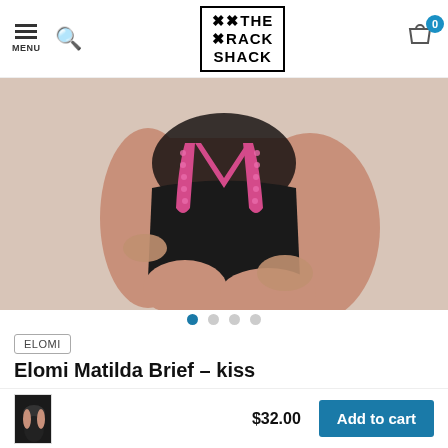MENU | Search | XX THE XRACK SHACK | Cart (0)
[Figure (photo): Product photo of Elomi Matilda Brief in black with pink lace trim, worn by a plus-size model, showing torso and thighs. Image carousel with 4 dots, first dot active.]
ELOMI
Elomi Matilda Brief – kiss
$32.00  Excl. tax    ✓ In stock (1)
[Figure (photo): Small thumbnail of the Elomi Matilda Brief product in black lingerie set]
$32.00
Add to cart